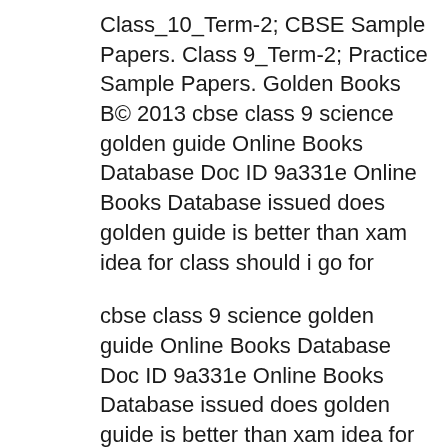Class_10_Term-2; CBSE Sample Papers. Class 9_Term-2; Practice Sample Papers. Golden Books B© 2013 cbse class 9 science golden guide Online Books Database Doc ID 9a331e Online Books Database issued does golden guide is better than xam idea for class should i go for
cbse class 9 science golden guide Online Books Database Doc ID 9a331e Online Books Database issued does golden guide is better than xam idea for class should i go for Keyword ranking analysis for free download of ncert golden Free ncert cbse golden hindi guide for class 9 Download and Latest Path: /golden-guide-for-ncert-